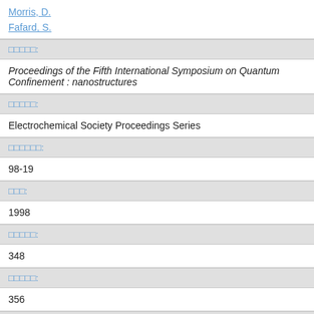Morris, D.
Fafard, S.
□□□□□:
Proceedings of the Fifth International Symposium on Quantum Confinement : nanostructures
□□□□□:
Electrochemical Society Proceedings Series
□□□□□□:
98-19
□□□:
1998
□□□□□:
348
□□□□□:
356
□□□□□:
9